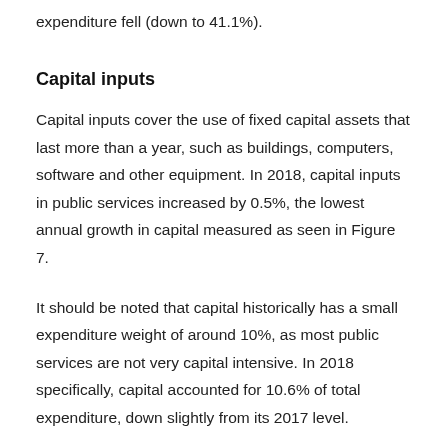expenditure fell (down to 41.1%).
Capital inputs
Capital inputs cover the use of fixed capital assets that last more than a year, such as buildings, computers, software and other equipment. In 2018, capital inputs in public services increased by 0.5%, the lowest annual growth in capital measured as seen in Figure 7.
It should be noted that capital historically has a small expenditure weight of around 10%, as most public services are not very capital intensive. In 2018 specifically, capital accounted for 10.6% of total expenditure, down slightly from its 2017 level.